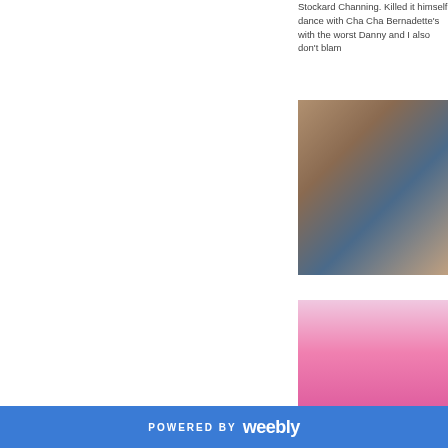Stockard Channing. Killed it himself dance with Cha Cha Bernadette's with the worst Danny and I also don't blam
[Figure (photo): Scene from Grease movie showing a woman in a blue feathered halter top with people in background]
[Figure (photo): Close-up of person wearing a bright pink curly wig looking upward]
POWERED BY weebly